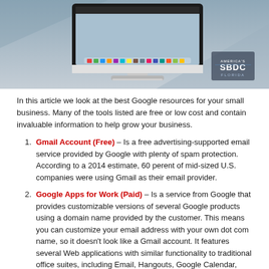[Figure (photo): An Apple iMac desktop computer on a gray/blue background with an SBDC Florida logo in the lower right corner.]
In this article we look at the best Google resources for your small business. Many of the tools listed are free or low cost and contain invaluable information to help grow your business.
Gmail Account (Free) – Is a free advertising-supported email service provided by Google with plenty of spam protection. According to a 2014 estimate, 60 perent of mid-sized U.S. companies were using Gmail as their email provider.
Google Apps for Work (Paid) – Is a service from Google that provides customizable versions of several Google products using a domain name provided by the customer. This means you can customize your email address with your own dot com name, so it doesn't look like a Gmail account. It features several Web applications with similar functionality to traditional office suites, including Email, Hangouts, Google Calendar, Drive, Docs, Sheets, Slides, Groups, News, etc. Google Apps for Work is free for 30 days, U.S. $5 per user account per month thereafter, or $50 per user, per year.